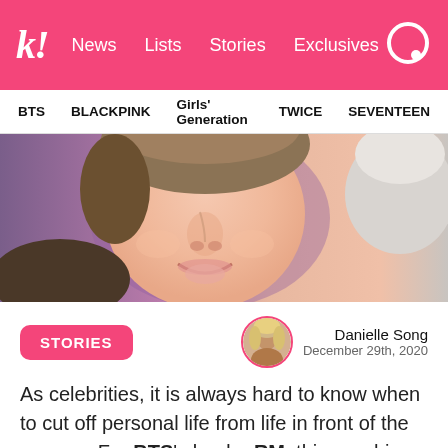k! News Lists Stories Exclusives
BTS  BLACKPINK  Girls' Generation  TWICE  SEVENTEEN
[Figure (photo): Close-up photo of a young male K-pop artist smiling, with a purple/pink blurred background and another person visible at the edge]
STORIES — Danielle Song, December 29th, 2020
As celebrities, it is always hard to know when to cut off personal life from life in front of the camera. For BTS's leader RM, this was his biggest dilemma.